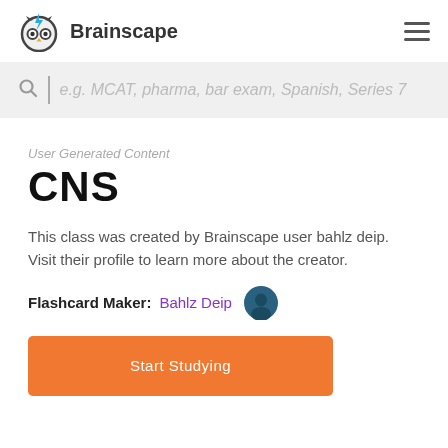[Figure (logo): Brainscape logo: owl face icon in dark gray with blue lightning bolt, followed by bold text 'Brainscape']
[Figure (other): Hamburger menu icon (three horizontal lines)]
e.g. MCAT, pharma, bar exam, Spanish, Series 7
User Generated Content
CNS
This class was created by Brainscape user bahlz deip. Visit their profile to learn more about the creator.
Flashcard Maker:  Bahlz Deip
Start Studying